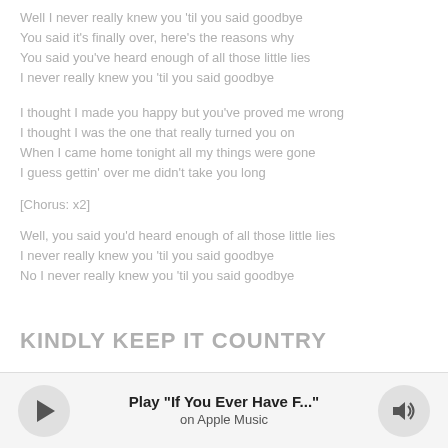Well I never really knew you 'til you said goodbye
You said it's finally over, here's the reasons why
You said you've heard enough of all those little lies
I never really knew you 'til you said goodbye
I thought I made you happy but you've proved me wrong
I thought I was the one that really turned you on
When I came home tonight all my things were gone
I guess gettin' over me didn't take you long
[Chorus: x2]
Well, you said you'd heard enough of all those little lies
I never really knew you 'til you said goodbye
No I never really knew you 'til you said goodbye
KINDLY KEEP IT COUNTRY
[Figure (other): Apple Music player bar with play button, track title 'Play "If You Ever Have F..."', subtitle 'on Apple Music', volume button, and progress bar. Length: 3:12]